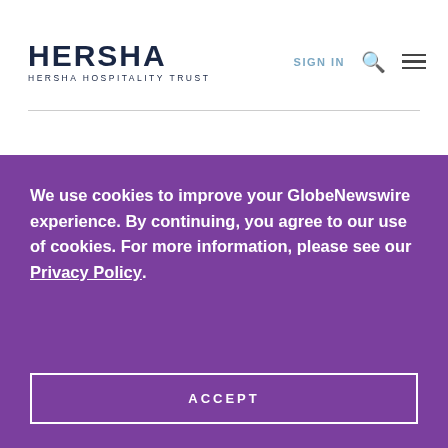HERSHA HERSHA HOSPITALITY TRUST | SIGN IN
We use cookies to improve your GlobeNewswire experience. By continuing, you agree to our use of cookies. For more information, please see our Privacy Policy.
ACCEPT